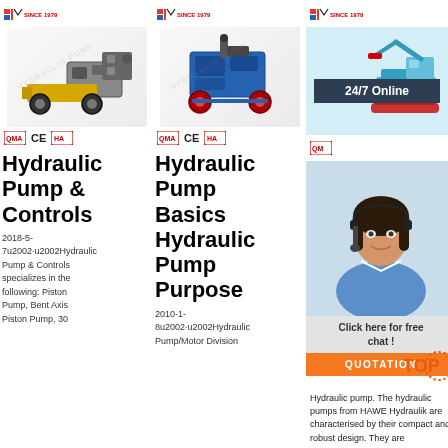[Figure (photo): Logo: MLS SINCE 1979 with red and blue flag icon, product image of yellow/grey hydraulic pump machine with wheels, certification badges: red square badge, CE, red HA badge]
Hydraulic Pump & Controls
2018-5-7u2002·u2002Hydraulic Pump & Controls specializes in the following: Piston Pump, Bent Axis Piston Pump, 30
[Figure (photo): Logo: MLS SINCE 1979 with red and blue flag icon, product image of blue hydraulic pump machine with red wheels, certification badges: red square badge, CE, red HA badge]
Hydraulic Pump Basics Hydraulic Pump Purpose
2010-1-8u2002·u2002Hydraulic Pump/Motor Division
[Figure (photo): Logo: MLS SINCE 1979 with red and blue icon, blue excavator image, 24/7 Online banner, female consultant with headset photo, Click here for free chat!, QUOTATION orange button, TOP logo with dots]
Hydraulic pump. The hydraulic pumps from HAWE Hydraulik are characterised by their compact and robust design. They are